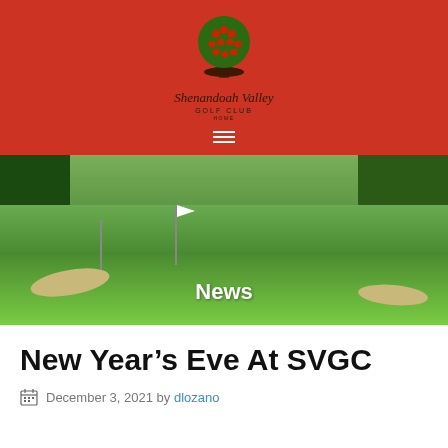[Figure (logo): Shenandoah Valley Golf Club logo — green tree with red/orange dots on red background, with cursive club name text below]
[Figure (photo): Golf course green with white flag, sand bunkers, lush green fairway, trees in background with 'News' text overlay]
New Year's Eve At SVGC
December 3, 2021 by dlozano